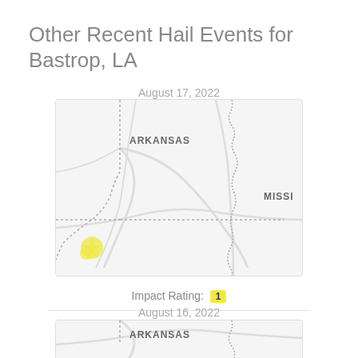Other Recent Hail Events for Bastrop, LA
August 17, 2022
[Figure (map): Regional map showing Arkansas and Mississippi state borders with dotted boundary lines, light gray roads, and a yellow hail event marker in the lower left area near Bastrop, LA.]
Impact Rating: 1
August 16, 2022
[Figure (map): Partial regional map showing Arkansas label and Mississippi state border dotted line, light gray roads, cropped at bottom of page.]